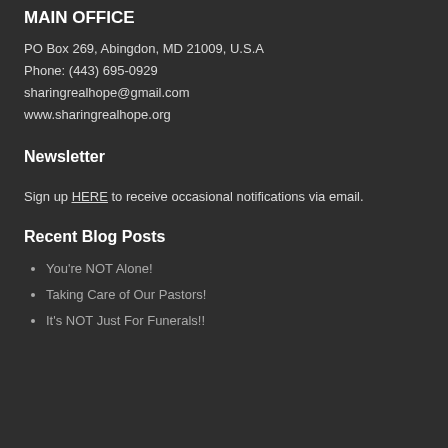MAIN OFFICE
PO Box 269, Abingdon, MD 21009, U.S.A
Phone: (443) 695-0929
sharingrealhope@gmail.com
www.sharingrealhope.org
Newsletter
Sign up HERE to receive occasional notifications via email.
Recent Blog Posts
You're NOT Alone!
Taking Care of Our Pastors!
It's NOT Just For Funerals!!